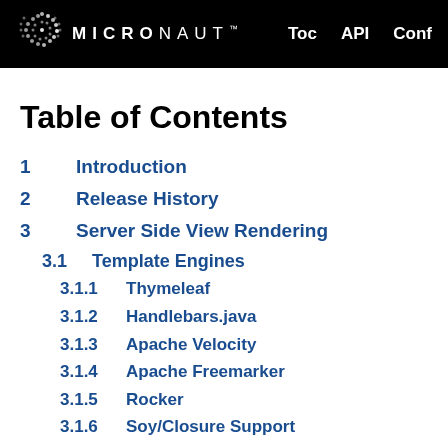MICRONAUT™  Toc  API  Conf
Table of Contents
1  Introduction
2  Release History
3  Server Side View Rendering
3.1  Template Engines
3.1.1  Thymeleaf
3.1.2  Handlebars.java
3.1.3  Apache Velocity
3.1.4  Apache Freemarker
3.1.5  Rocker
3.1.6  Soy/Closure Support